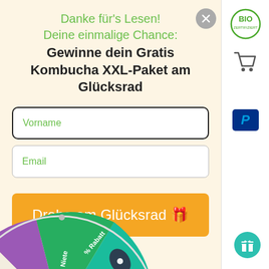Danke für's Lesen!
Deine einmalige Chance:
Gewinne dein Gratis Kombucha XXL-Paket am Glücksrad
Vorname
Email
Drehe am Glücksrad 🎁
[Figure (illustration): Partial view of a colorful spinning wheel (Glücksrad) at the bottom left, showing segments in purple, green with text 'Niete' and '% Rabatt', with a pointer marker]
[Figure (logo): BIO certification badge in top right sidebar]
[Figure (illustration): Shopping cart icon in right sidebar]
[Figure (logo): PayPal P logo button in right sidebar]
[Figure (illustration): Teal gift box button at bottom right sidebar]